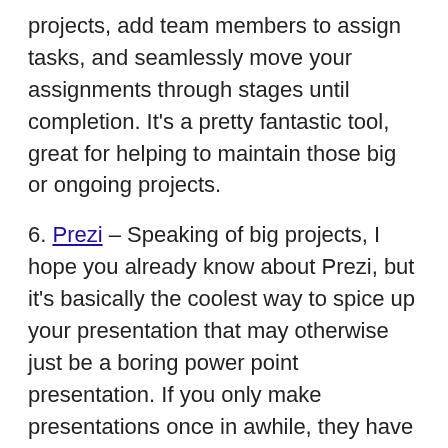projects, add team members to assign tasks, and seamlessly move your assignments through stages until completion. It's a pretty fantastic tool, great for helping to maintain those big or ongoing projects.
6. Prezi – Speaking of big projects, I hope you already know about Prezi, but it's basically the coolest way to spice up your presentation that may otherwise just be a boring power point presentation. If you only make presentations once in awhile, they have a great free option. And if you are a hard-core presentation maker, or if you want your presentations to be private, they have reasonable pricing options for those